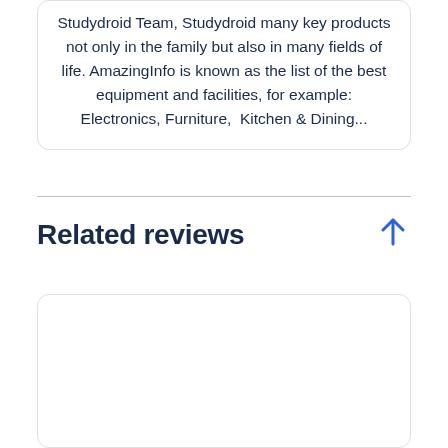Studydroid Team, Studydroid many key products not only in the family but also in many fields of life. AmazingInfo is known as the list of the best equipment and facilities, for example: Electronics, Furniture, Kitchen & Dining...
Related reviews
[Figure (other): Empty white card/box below Related reviews section]